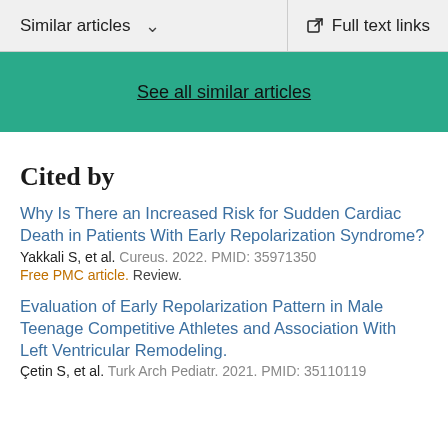Similar articles   Full text links
See all similar articles
Cited by
Why Is There an Increased Risk for Sudden Cardiac Death in Patients With Early Repolarization Syndrome?
Yakkali S, et al. Cureus. 2022. PMID: 35971350
Free PMC article. Review.
Evaluation of Early Repolarization Pattern in Male Teenage Competitive Athletes and Association With Left Ventricular Remodeling.
Çetin S, et al. Turk Arch Pediatr. 2021. PMID: 35110119